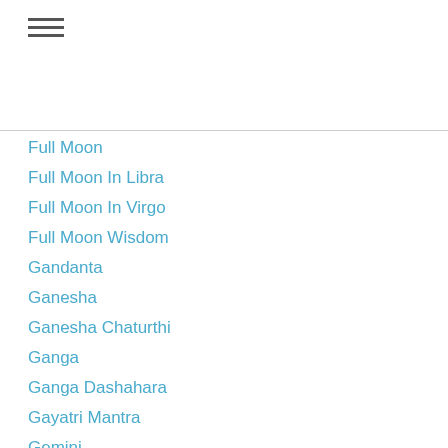Full Moon
Full Moon In Libra
Full Moon In Virgo
Full Moon Wisdom
Gandanta
Ganesha
Ganesha Chaturthi
Ganga
Ganga Dashahara
Gayatri Mantra
Gemini
Gifts
Goals
Goddess
Gratitude
Grief
Guru
Guru Purnima